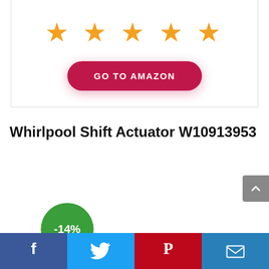[Figure (other): Five orange stars rating display inside a card border]
[Figure (other): GO TO AMAZON red pill-shaped button]
Whirlpool Shift Actuator W10913953
[Figure (other): Scroll-to-top button with upward arrow on grey background]
[Figure (other): Green circular badge showing -14% discount]
[Figure (other): Social sharing bar with Facebook, Twitter, Pinterest, and Email icons]